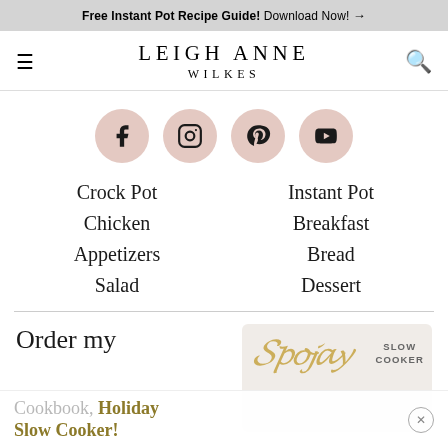Free Instant Pot Recipe Guide! Download Now! →
LEIGH ANNE
WILKES
[Figure (infographic): Social media icons row: Facebook, Instagram, Pinterest, YouTube — each in a round pinkish circle]
Crock Pot
Chicken
Appetizers
Salad
Instant Pot
Breakfast
Bread
Dessert
Order my
Cookbook, Holiday Slow Cooker!